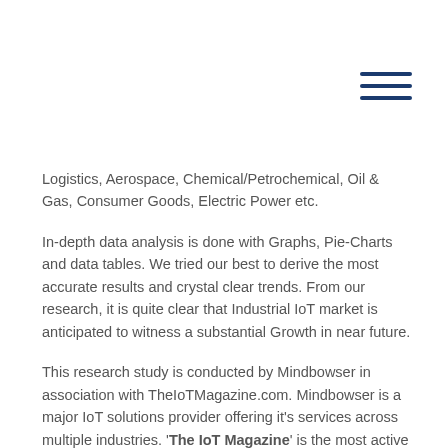[Figure (other): Hamburger menu icon (three horizontal dark blue lines)]
Logistics, Aerospace, Chemical/Petrochemical, Oil & Gas, Consumer Goods, Electric Power etc.
In-depth data analysis is done with Graphs, Pie-Charts and data tables. We tried our best to derive the most accurate results and crystal clear trends. From our research, it is quite clear that Industrial IoT market is anticipated to witness a substantial Growth in near future.
This research study is conducted by Mindbowser in association with TheIoTMagazine.com. Mindbowser is a major IoT solutions provider offering it's services across multiple industries. 'The IoT Magazine' is the most active